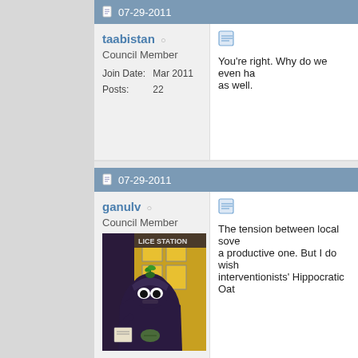07-29-2011
taabistan ○
Council Member
Join Date: Mar 2011
Posts: 22
You're right. Why do we even ha... as well.
07-29-2011
ganulv ○
Council Member
Join Date: Dec 2010
Location: Berkshire County, Mass.
Posts: 896
The tension between local sove... a productive one. But I do wish interventionists' Hippocratic Oat...